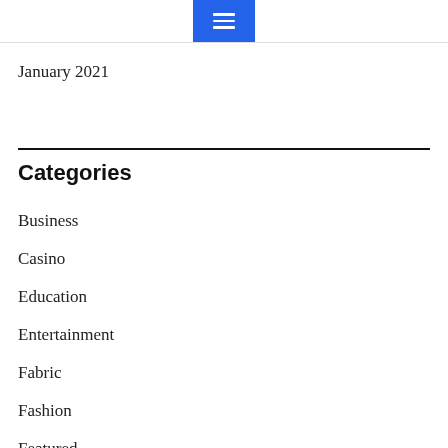≡
January 2021
Categories
Business
Casino
Education
Entertainment
Fabric
Fashion
Featured